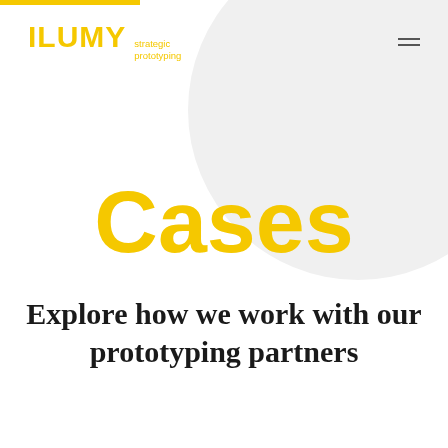ILUMY strategic prototyping
Cases
Explore how we work with our prototyping partners